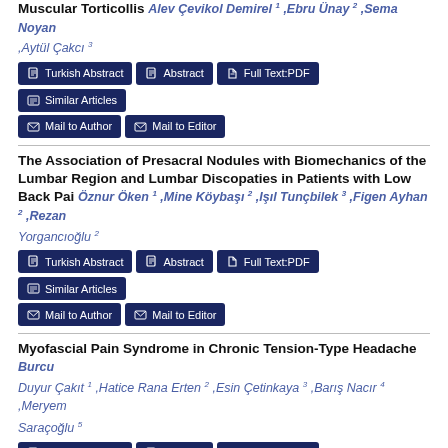Muscular Torticollis Alev Çevikol Demirel 1 ,Ebru Ünay 2 ,Sema Noyan ,Aytül Çakcı 3
Turkish Abstract | Abstract | Full Text:PDF | Similar Articles | Mail to Author | Mail to Editor
The Association of Presacral Nodules with Biomechanics of the Lumbar Region and Lumbar Discopaties in Patients with Low Back Pai
Öznur Öken 1 ,Mine Köybaşı 2 ,Işıl Tunçbilek 3 ,Figen Ayhan 2 ,Rezan Yorgancıoğlu 2
Turkish Abstract | Abstract | Full Text:PDF | Similar Articles | Mail to Author | Mail to Editor
Myofascial Pain Syndrome in Chronic Tension-Type Headache
Burcu Duyur Çakıt 1 ,Hatice Rana Erten 2 ,Esin Çetinkaya 3 ,Barış Nacır 4 ,Meryem Saraçoğlu 5
Turkish Abstract | Abstract | Full Text:PDF | Similar Articles | Mail to Author | Mail to Editor
Coexistence of Complex Regional Pain Syndrome Type 1 and Type 2 in a Patient: A Case Report
Serpil Savaş 1 ,Hale Hekim Baloğlu 2 ,Şevilay...